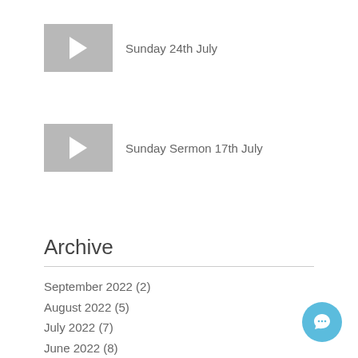[Figure (other): Video thumbnail placeholder with grey background and white play button triangle]
Sunday 24th July
[Figure (other): Video thumbnail placeholder with grey background and white play button triangle]
Sunday Sermon 17th July
Archive
September 2022 (2)
August 2022 (5)
July 2022 (7)
June 2022 (8)
May 2022 (8)